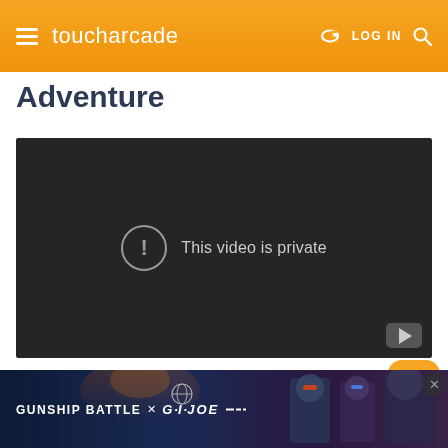toucharcade — LOG IN
Adventure
[Figure (screenshot): Embedded video player showing error message: 'This video is private' with a YouTube logo in the bottom right corner. The video area has a dark background.]
iTunes Description
[Figure (photo): Advertisement banner for Gunship Battle x G.I. JOE showing military figures against a dramatic background.]